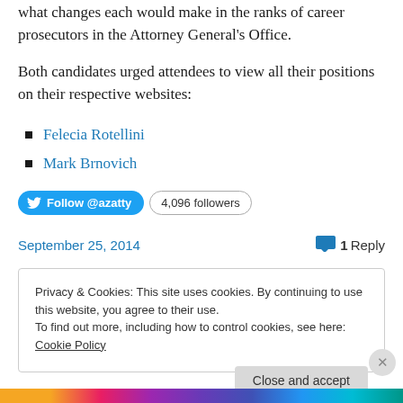what changes each would make in the ranks of career prosecutors in the Attorney General's Office.
Both candidates urged attendees to view all their positions on their respective websites:
Felecia Rotellini
Mark Brnovich
Follow @azatty  4,096 followers
September 25, 2014   1 Reply
Privacy & Cookies: This site uses cookies. By continuing to use this website, you agree to their use. To find out more, including how to control cookies, see here: Cookie Policy
Close and accept